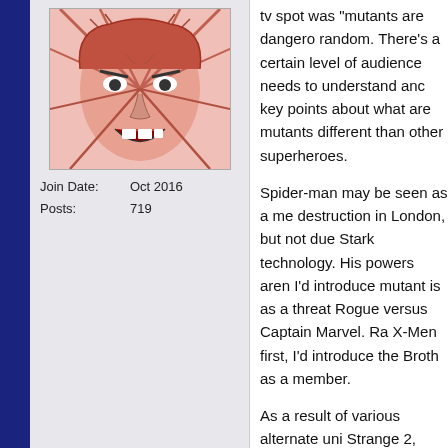[Figure (illustration): Comic book style illustration of a character with dramatic lines and open mouth, pink/red tones]
Join Date: Oct 2016
Posts: 719
tv spot was 'mutants are dangerous' random. There's a certain level of audience needs to understand and key points about what are mutants different than other superheroes.

Spider-man may be seen as a me destruction in London, but not due Stark technology. His powers aren I'd introduce mutant is as a threat Rogue versus Captain Marvel. Ra X-Men first, I'd introduce the Broth as a member.

As a result of various alternate uni Strange 2, there's some event whi the Fox-verse like Deadpool but th always existed but the mutations a common after the snap and mutati greater powers.

The Avengers being tasked with ta seems fairly straightforward - muta threats to humanity and their battle confirm that. Even if mutants are c powers emerge, they might kill eve then when they find some of the y kids from New Mutants could work facilitate them going into hiding to labeled as dangerous mutants wh society.